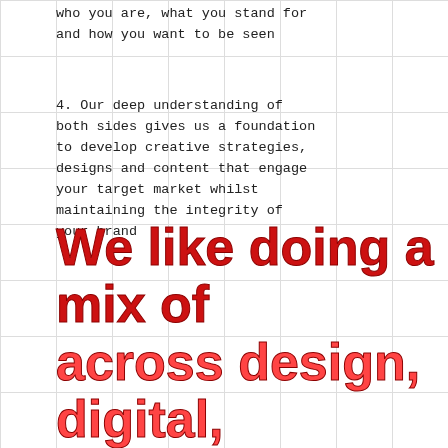who you are, what you stand for and how you want to be seen
4. Our deep understanding of both sides gives us a foundation to develop creative strategies, designs and content that engage your target market whilst maintaining the integrity of your brand
We like doing a mix of across design, digital,